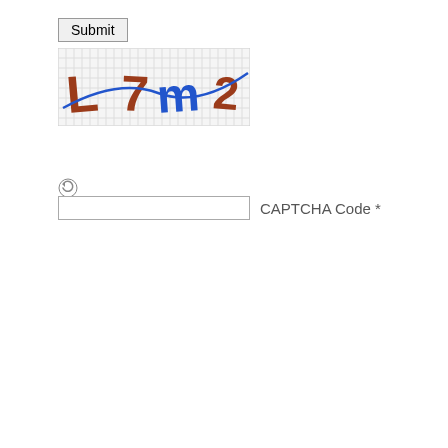Submit
[Figure (other): CAPTCHA image showing distorted characters: L 7 m 2 with a blue line crossing through them, on a striped background]
[Figure (other): Refresh/reload icon (circular arrows) for refreshing CAPTCHA]
CAPTCHA Code *